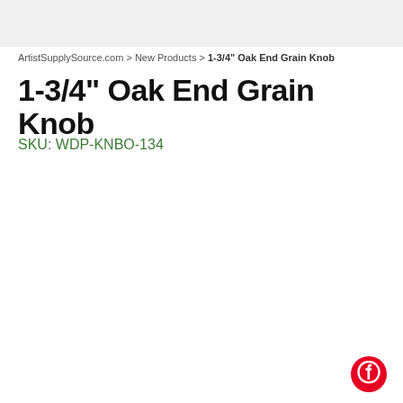ArtistSupplySource.com > New Products > 1-3/4" Oak End Grain Knob
1-3/4" Oak End Grain Knob
SKU: WDP-KNBO-134